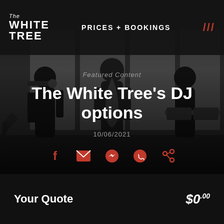The White Tree | PRICES + BOOKINGS | ///
[Figure (photo): Black and white photo of three musicians/performers: left person playing trumpet, center person playing saxophone in dark jacket, right person at DJ decks/turntables. Indoor venue setting with large windows.]
Featured Content
The White Tree's DJ options
10/06/2021
[Figure (infographic): Row of 5 social share icons in red: Facebook, Email, Messenger, WhatsApp, Share/copy link]
Your Quote  $0.00